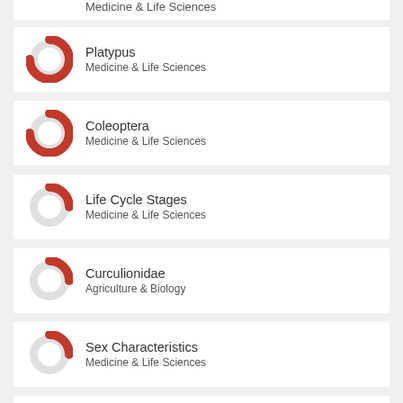Platypus — Medicine & Life Sciences
Coleoptera — Medicine & Life Sciences
Life Cycle Stages — Medicine & Life Sciences
Curculionidae — Agriculture & Biology
Sex Characteristics — Medicine & Life Sciences
Bergmann Rule — Earth & Environmental Sciences
Cli... (partial)